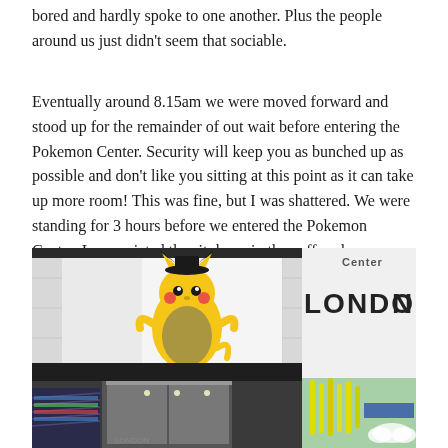bored and hardly spoke to one another. Plus the people around us just didn't seem that sociable.
Eventually around 8.15am we were moved forward and stood up for the remainder of out wait before entering the Pokemon Center. Security will keep you as bunched up as possible and don't like you sitting at this point as it can take up more room! This was fine, but I was shattered. We were standing for 3 hours before we entered the Pokemon Center. I appreciated the sit down in the coffee shop we ventured to after.
[Figure (photo): Exterior photo of the Pokemon Center London store. Shows the building facade with a large Pikachu wearing a bowler hat mural on a white wall, and 'Center LONDON' text on the right side. The store entrance is visible at the bottom with glass doors and decorative yellow rods on the right side of the building.]